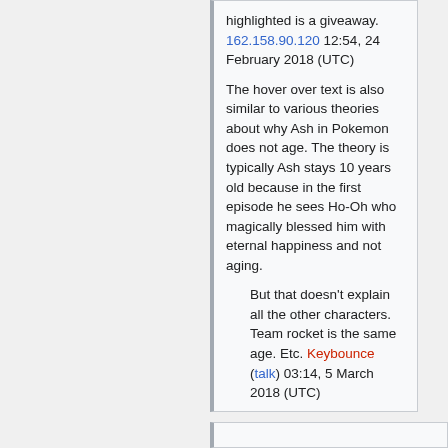highlighted is a giveaway. 162.158.90.120 12:54, 24 February 2018 (UTC)
The hover over text is also similar to various theories about why Ash in Pokemon does not age. The theory is typically Ash stays 10 years old because in the first episode he sees Ho-Oh who magically blessed him with eternal happiness and not aging.
But that doesn't explain all the other characters. Team rocket is the same age. Etc. Keybounce (talk) 03:14, 5 March 2018 (UTC)